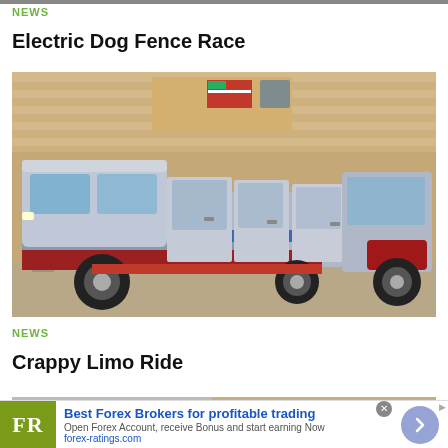NEWS
Electric Dog Fence Race
[Figure (photo): A long custom-built stretch limousine truck, cobbled together from multiple vehicle bodies, parked in front of a building. The vehicle has multiple doors, a blue stripe, red accents, and sits on heavy truck chassis.]
NEWS
Crappy Limo Ride
[Figure (photo): Partial view of another image at the bottom of the page, mostly gray/tan tones.]
Best Forex Brokers for profitable trading
Open Forex Account, receive Bonus and start earning Now
forex-ratings.com